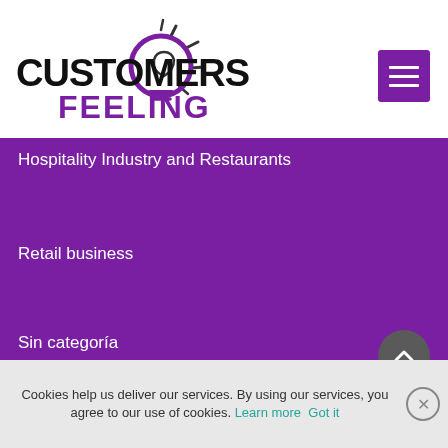[Figure (logo): Customers Feeling logo with lightbulb icon — 'CUSTOMERS' in bold black text and 'FEELING' in bold purple text]
Hospitality Industry and Restaurants
Retail business
Sin categoría
Tourist destinations
Legal
Legal notice
Cookies help us deliver our services. By using our services, you agree to our use of cookies. Learn more Got it